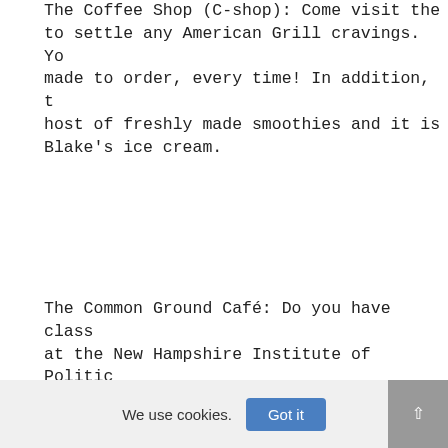The Coffee Shop (C-shop): Come visit the to settle any American Grill cravings. Yo made to order, every time! In addition, t host of freshly made smoothies and it is Blake's ice cream.
The Common Ground Café: Do you have class at the New Hampshire Institute of Politic worry! The Common Ground offers coffee, s and sandwiches.
The Gallo Café: While this location is no by a dining plan, it is a great option fo The café features Starbucks full line of cold beverages, breakfast pastries, sandw Paninis, homemade biscotti, pizzelles, al Sambazon Açaí Smoothie Bowls. Did we ment
We use cookies.
Got it